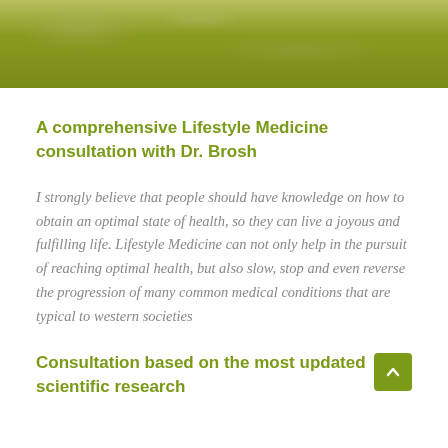[Figure (other): Olive/yellow-green textured banner header at top of page]
A comprehensive Lifestyle Medicine consultation with Dr. Brosh
I strongly believe that people should have knowledge on how to obtain an optimal state of health, so they can live a joyous and fulfilling life. Lifestyle Medicine can not only help in the pursuit of reaching optimal health, but also slow, stop and even reverse the progression of many common medical conditions that are typical to western societies
Consultation based on the most updated scientific research